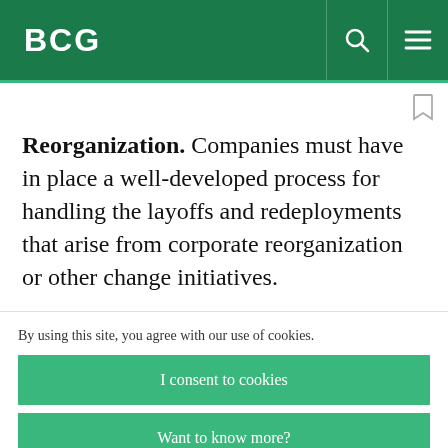BCG
Reorganization. Companies must have in place a well-developed process for handling the layoffs and redeployments that arise from corporate reorganization or other change initiatives.
By using this site, you agree with our use of cookies.
I consent to cookies
Want to know more?
Read our Cookie Policy